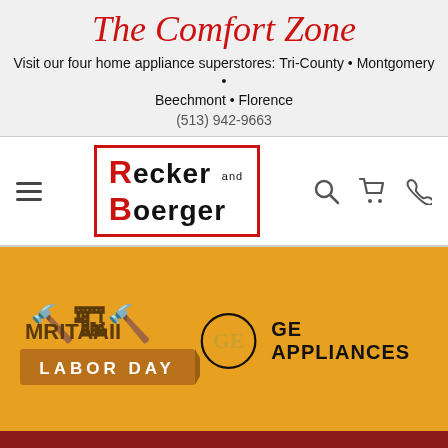The Comfort Zone
Visit our four home appliance superstores: Tri-County • Montgomery • Beechmont • Florence
(513) 942-9663
[Figure (logo): Recker and Boerger appliance store logo in a red-bordered box with red R and B letters]
[Figure (infographic): Labor Day promotional banner on orange background with GE Appliances logo and SHOP NOW button]
Our Catalog › Appliances › Cooking › Ranges ›
Samsung 30" Stainless Steel Smart Freestanding